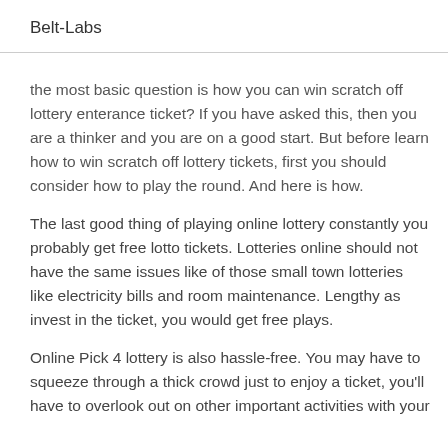Belt-Labs
the most basic question is how you can win scratch off lottery enterance ticket? If you have asked this, then you are a thinker and you are on a good start. But before learn how to win scratch off lottery tickets, first you should consider how to play the round. And here is how.
The last good thing of playing online lottery constantly you probably get free lotto tickets. Lotteries online should not have the same issues like of those small town lotteries like electricity bills and room maintenance. Lengthy as invest in the ticket, you would get free plays.
Online Pick 4 lottery is also hassle-free. You may have to squeeze through a thick crowd just to enjoy a ticket, you'll have to overlook out on other important activities with your